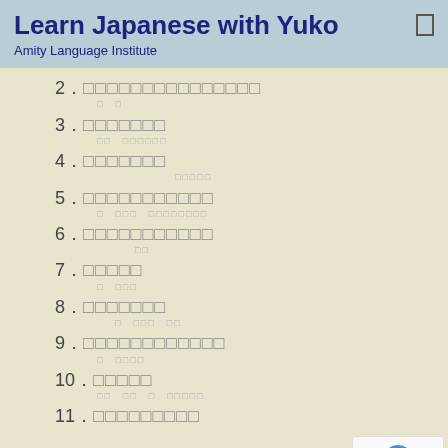Learn Japanese with Yuko
Amity Language Institute
2. ［Japanese text rendered as boxes］
3. ［Japanese text rendered as boxes］
4. ［Japanese text rendered as boxes］
5. ［Japanese text rendered as boxes］
6. ［Japanese text rendered as boxes］
7. ［Japanese text rendered as boxes］
8. ［Japanese text rendered as boxes］
9. ［Japanese text rendered as boxes］
10. ［Japanese text rendered as boxes］
11. ［Japanese text rendered as boxes］
Privacy · Terms